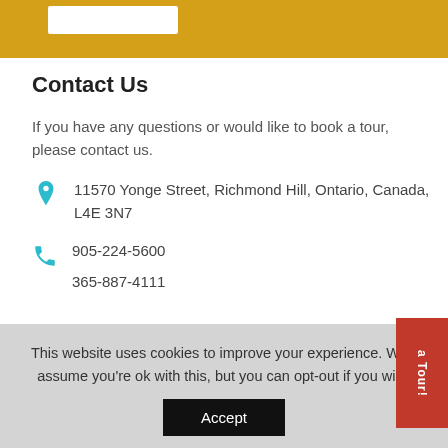[Figure (other): Yellow header bar with a white input box element]
Contact Us
If you have any questions or would like to book a tour, please contact us.
11570 Yonge Street, Richmond Hill, Ontario, Canada, L4E 3N7
905-224-5600
365-887-4111
This website uses cookies to improve your experience. We'll assume you're ok with this, but you can opt-out if you wish
Accept